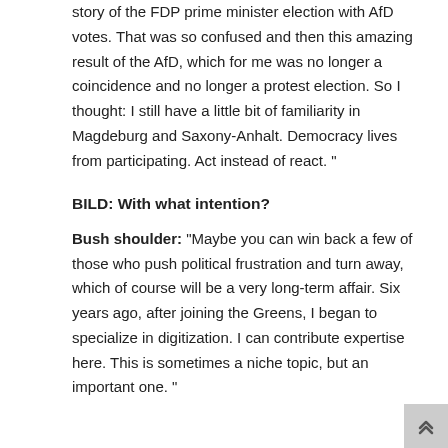story of the FDP prime minister election with AfD votes. That was so confused and then this amazing result of the AfD, which for me was no longer a coincidence and no longer a protest election. So I thought: I still have a little bit of familiarity in Magdeburg and Saxony-Anhalt. Democracy lives from participating. Act instead of react. “
BILD: With what intention?
Bush shoulder: “Maybe you can win back a few of those who push political frustration and turn away, which of course will be a very long-term affair. Six years ago, after joining the Greens, I began to specialize in digitization. I can contribute expertise here. This is sometimes a niche topic, but an important one. “